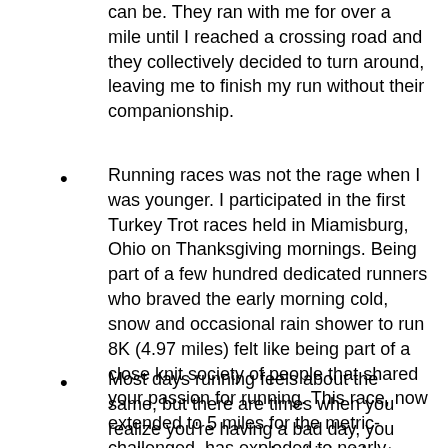can be.  They ran with me for over a mile until I reached a crossing road and they collectively decided to turn around, leaving me to finish my run without their companionship.
Running races was not the rage when I was younger.  I participated in the first Turkey Trot races held in Miamisburg, Ohio on Thanksgiving mornings. Being part of a few hundred dedicated runners who braved the early morning cold, snow and occasional rain shower to run 8K (4.97 miles) felt like being part of a close knit society of people that shared your passion for running. This race, now extended to 5 miles for the metric-challenged, has exploded to nearly 10,000 participants and has become more a jog then a run.  I still do them, but now head to Starbucks for coffee after the race, then enjoy a Bloody Mary in my hot tub with my wife and daughter, and wrap it with a nap. I really like the new routine, but have a misty eye for times past.
Most days running feels about the same, but there are times when you realize you're having a bad day, you can't get up to speed and it just hurts too much. And then there are the wonderful days when you fly like the wind, feel like you can run forever and you